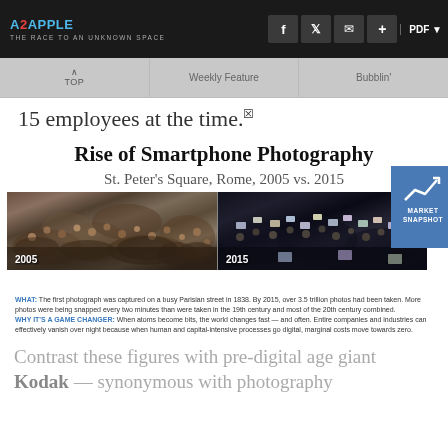A2APPLE — THE RACE TO AN UNKNOWN SPACE
15 employees at the time.
Rise of Smartphone Photography
St. Peter's Square, Rome, 2005 vs. 2015
[Figure (photo): Side-by-side comparison photos of St. Peter's Square in Rome: 2005 (left) showing crowd with no smartphones, 2015 (right) showing crowd with many people holding up smartphones/tablets. A 'MARKET SNAPSHOT' badge appears in the upper right corner.]
WHAT: The first photograph was captured on a busy Parisian street in 1838. By 2015, over 3.5 trillion photos had been taken. More photos were being snapped every two minutes than were taken in the 19th century and most of the 20th century combined. WHY IT'S A GAME CHANGER: When atoms become bits, the world changes fast — and often. Entire companies and industries can effectively vanish over night because when human and capital-intensive processes go digital, marginal costs move towards zero.
Contrast these figures with pre-digital age giant Kodak — synonymous with photography